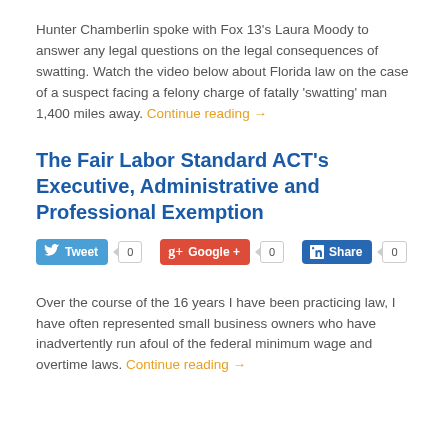Hunter Chamberlin spoke with Fox 13's Laura Moody to answer any legal questions on the legal consequences of swatting. Watch the video below about Florida law on the case of a suspect facing a felony charge of fatally 'swatting' man 1,400 miles away. Continue reading →
The Fair Labor Standard ACT's Executive, Administrative and Professional Exemption
[Figure (other): Social media sharing buttons: Tweet (0), Google+ (0), LinkedIn Share (0)]
Over the course of the 16 years I have been practicing law, I have often represented small business owners who have inadvertently run afoul of the federal minimum wage and overtime laws. Continue reading →